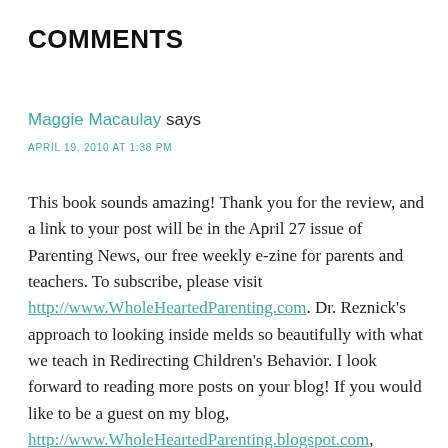COMMENTS
Maggie Macaulay says
APRIL 19, 2010 AT 1:38 PM
This book sounds amazing! Thank you for the review, and a link to your post will be in the April 27 issue of Parenting News, our free weekly e-zine for parents and teachers. To subscribe, please visit http://www.WholeHeartedParenting.com. Dr. Reznick's approach to looking inside melds so beautifully with what we teach in Redirecting Children's Behavior. I look forward to reading more posts on your blog! If you would like to be a guest on my blog, http://www.WholeHeartedParenting.blogspot.com, please let me know!